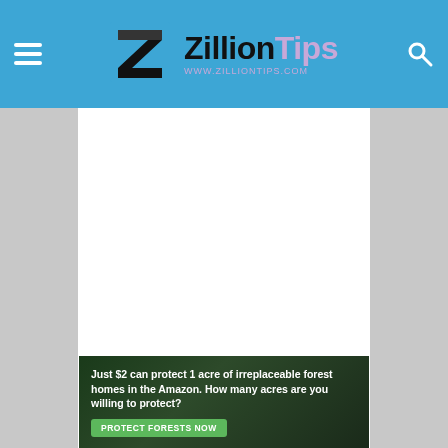ZillionTips www.zilliontips.com
[Figure (other): Advertisement placeholder area (white space)]
The 42 sub-woofer along with 2.5w satellite speakers offers top-notch audio experience.
Buy from Amazon
[Figure (other): Banner advertisement: Just $2 can protect 1 acre of irreplaceable forest homes in the Amazon. How many acres are you willing to protect? PROTECT FORESTS NOW]